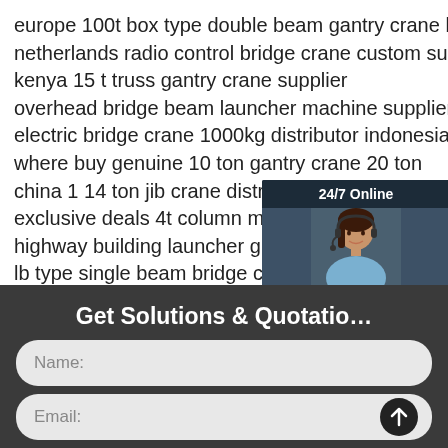europe 100t box type double beam gantry crane brand
netherlands radio control bridge crane custom support
kenya 15 t truss gantry crane supplier
overhead bridge beam launcher machine supplier bengal
electric bridge crane 1000kg distributor indonesia
where buy genuine 10 ton gantry crane 20 ton
china 1 14 ton jib crane distributor
exclusive deals 4t column mounted jib crane customiz…
highway building launcher girder crane custom suppor…
lb type single beam bridge crane factory direct sales a…
120t subway bridge erecting beam launcher customize…
40t 50t bridge crane customized kenya
[Figure (illustration): 24/7 Online chat widget with a woman wearing a headset, 'Click here for free chat!' text and an orange QUOTATION button]
Get Solutions & Quotation
Name:
Email:
Please Enter Other Contact Information